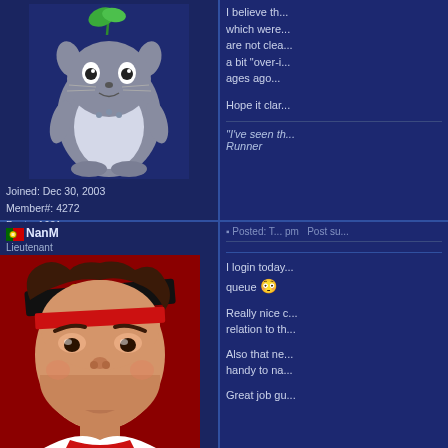[Figure (illustration): Totoro character pixel art avatar on dark blue background]
Joined: Dec 30, 2003
Member#: 4272
Posts: 1621
Location: Annecy
[Figure (illustration): Icon buttons row: red circle, profile, PM, globe, heart]
I believe th... which were... are not clea... a bit "over-i... ages ago...

Hope it clar...

"I've seen th... Runner
Posted: T... pm  Post su...
[Figure (illustration): Portugal flag emoji next to username NanM]
NanM
Lieutenant
[Figure (illustration): Ryu from Street Fighter character art avatar on red background]
Posted: T... pm  Post su...

I login today... queue 😳

Really nice c... relation to th...

Also that ne... handy to na...

Great job gu...